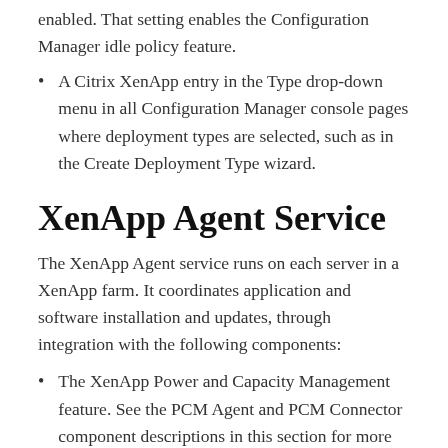enabled. That setting enables the Configuration Manager idle policy feature.
A Citrix XenApp entry in the Type drop-down menu in all Configuration Manager console pages where deployment types are selected, such as in the Create Deployment Type wizard.
XenApp Agent Service
The XenApp Agent service runs on each server in a XenApp farm. It coordinates application and software installation and updates, through integration with the following components:
The XenApp Power and Capacity Management feature. See the PCM Agent and PCM Connector component descriptions in this section for more information.
Citrix Provisioning Services. See the PVS Agent